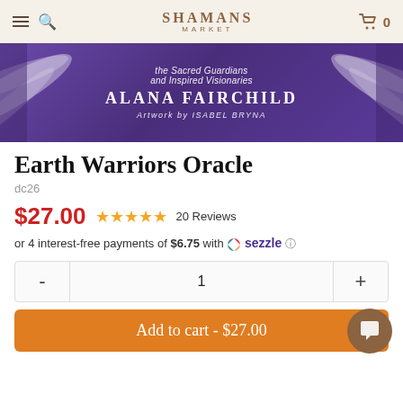SHAMANS MARKET
[Figure (illustration): Purple banner with decorative white wing feathers on left and right, featuring text: 'the Sacred Guardians and Inspired Visionaries', 'ALANA FAIRCHILD', 'Artwork by ISABEL BRYNA']
Earth Warriors Oracle
dc26
$27.00  ★★★★★ 20 Reviews
or 4 interest-free payments of $6.75 with ⬤ sezzle []
- 1 +
Add to cart - $27.00